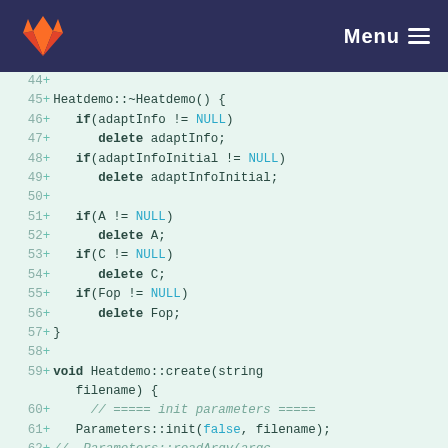[Figure (screenshot): GitLab navigation bar with orange fox logo on the left and 'Menu' with hamburger icon on the right, dark navy blue background]
Code diff view showing lines 44-62 of a C++ source file with added lines (+). Lines include Heatdemo destructor, delete statements for adaptInfo, adaptInfoInitial, A, C, Fop, closing brace, and start of Heatdemo::create function.